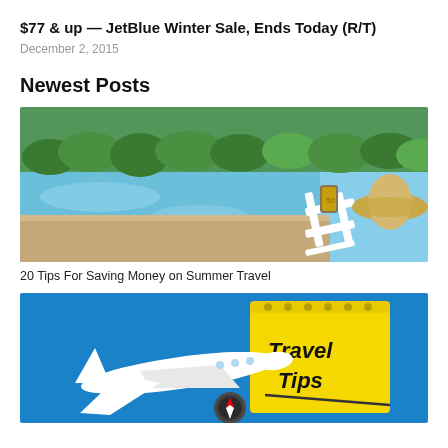$77 & up — JetBlue Winter Sale, Ends Today (R/T)
December 2, 2015
Newest Posts
[Figure (photo): A beach chair with a rolled-up Euro banknote and straw hat beside a sunny pool with green tropical plants in the background.]
20 Tips For Saving Money on Summer Travel
[Figure (photo): A white toy airplane and a yellow notepad labeled 'Travel Tips' on a bright blue background, with a compass visible.]